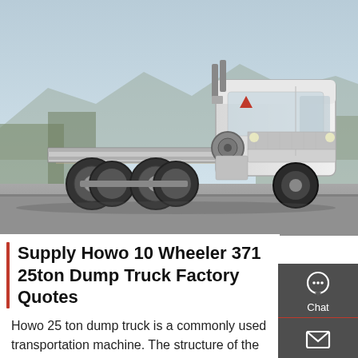[Figure (photo): White Howo 10 Wheeler dump truck (tractor/chassis) parked on a road with mountains and trees in the background. The HOWO logo is visible on the cab.]
Supply Howo 10 Wheeler 371 25ton Dump Truck Factory Quotes
Howo 25 ton dump truck is a commonly used transportation machine. The structure of the engine, chassis and cab is the same as that of general trucks. Howo 371 dump truck is suitable for load capacity of 8 to 40 tons and carriage length of 4.4 to 6 meters. The advantages are mature structure, stable lifting, and low cost; the disadvantage is